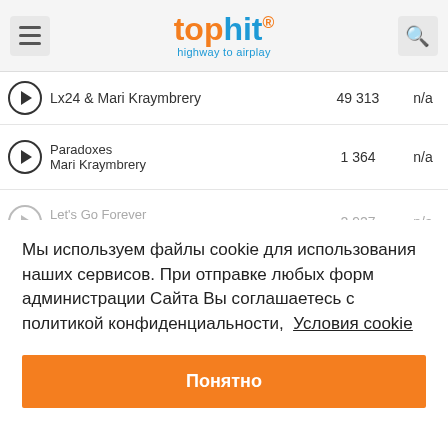tophit® highway to airplay
|  | Track / Artist | Plays | Rating |
| --- | --- | --- | --- |
| ▶ | Lx24 & Mari Kraymbrery | 49 313 | n/a |
| ▶ | Paradoxes
Mari Kraymbrery | 1 364 | n/a |
| ▶ | Let's Go Forever
Mari Kraymbrery | 2 927 | n/a |
| ▶ | (partial row) |  |  |
Мы используем файлы cookie для использования наших сервисов. При отправке любых форм администрации Сайта Вы соглашаетесь с политикой конфиденциальности,  Условия cookie
Понятно